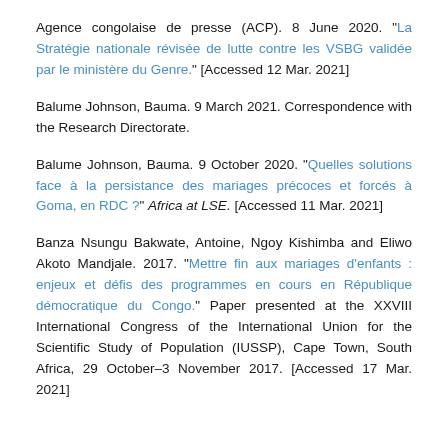Agence congolaise de presse (ACP). 8 June 2020. "La Stratégie nationale révisée de lutte contre les VSBG validée par le ministère du Genre." [Accessed 12 Mar. 2021]
Balume Johnson, Bauma. 9 March 2021. Correspondence with the Research Directorate.
Balume Johnson, Bauma. 9 October 2020. "Quelles solutions face à la persistance des mariages précoces et forcés à Goma, en RDC ?" Africa at LSE. [Accessed 11 Mar. 2021]
Banza Nsungu Bakwate, Antoine, Ngoy Kishimba and Eliwo Akoto Mandjale. 2017. "Mettre fin aux mariages d'enfants : enjeux et défis des programmes en cours en République démocratique du Congo." Paper presented at the XXVIII International Congress of the International Union for the Scientific Study of Population (IUSSP), Cape Town, South Africa, 29 October–3 November 2017. [Accessed 17 Mar. 2021]